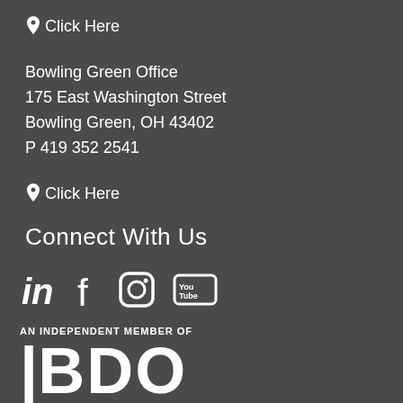📍 Click Here
Bowling Green Office
175 East Washington Street
Bowling Green, OH 43402
P 419 352 2541
📍 Click Here
Connect With Us
[Figure (illustration): Social media icons: LinkedIn, Facebook, Instagram, YouTube]
[Figure (logo): BDO Alliance USA logo - An Independent Member of BDO Alliance USA]